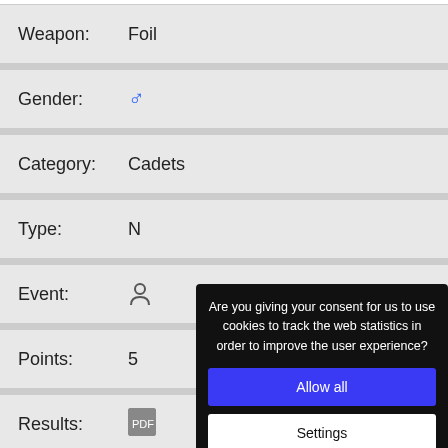Weapon:  Foil
Gender:  ♂
Category:  Cadets
Type:  N
Event:  [person icon]
Points:  5
Results:  [PDF icon]
#:  37
Name:  Theo Alexander SCHWARTZ
Are you giving your consent for us to use cookies to track the web statistics in order to improve the user experience?
Allow all
Settings
Cookies GDPR